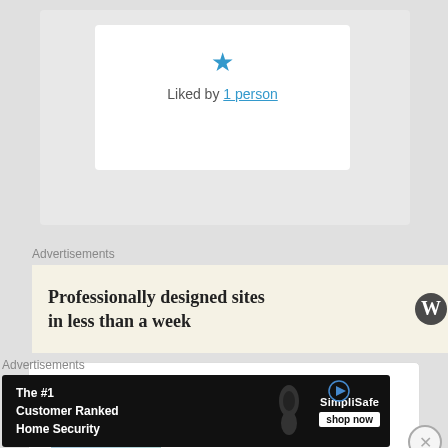[Figure (other): Like widget card showing a blue star icon and 'Liked by 1 person' link]
Liked by 1 person
Advertisements
[Figure (other): Advertisement banner with beige background: 'Professionally designed sites in less than a week' with a WordPress logo]
[Figure (other): Comment card with avatar image (book cover 'By the Grace of God'), author Yoshiko linked, date July 17, 2015 at 10:21 am, 'said:']
Yoshiko on July 17, 2015 at 10:21 am said:
Advertisements
[Figure (other): Advertisement banner black background: 'The #1 Customer Ranked Home Security' with SimpliSafe logo and 'shop now' button]